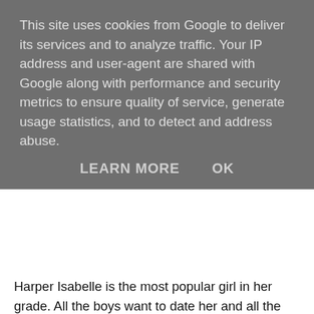This site uses cookies from Google to deliver its services and to analyze traffic. Your IP address and user-agent are shared with Google along with performance and security metrics to ensure quality of service, generate usage statistics, and to detect and address abuse.
LEARN MORE   OK
Harper Isabelle is the most popular girl in her grade. All the boys want to date her and all the girls want to be her friend. Her freshman year of high school is going perfectly. That is until she meets Sarah Jamieson, a girl who hides behind a thick layer of dark make up and constantly gets bullied. When Harper befriends Sarah, she soon comes to realise there is more to this girl than meets the eye. As their relationship progresses, Harper must choose between her popularity and being with Sarah.
I was immediately drawn to this book by the gorgeous cover, and when I found out that it was a YA lesbian romance novel I knew that I had to read it! The story follows Harper Isabelle, a girl in her freshman year of high school who has always followed in her older sister Bronte's footsteps. I loved that the sisters were named after